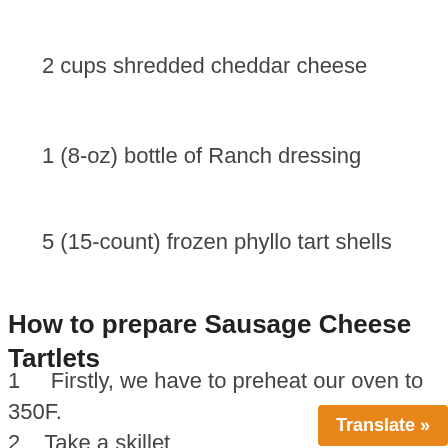2 cups shredded cheddar cheese
1 (8-oz) bottle of Ranch dressing
5 (15-count) frozen phyllo tart shells
How to prepare Sausage Cheese Tartlets
1    Firstly, we have to preheat our oven to 350F.
2    Take a skillet over med…